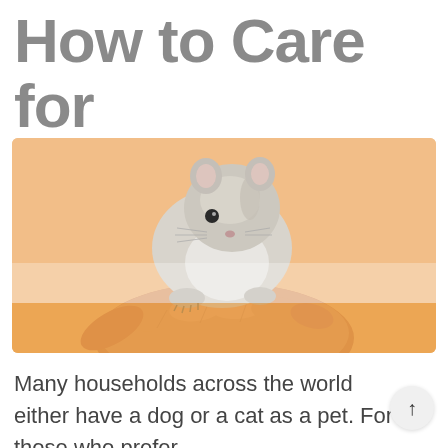How to Care for Them
[Figure (photo): A small hamster/gerbil sitting on a person's hand, photographed against a warm peach/orange background. The animal is light grey/white and very small.]
Many households across the world either have a dog or a cat as a pet. For those who prefer